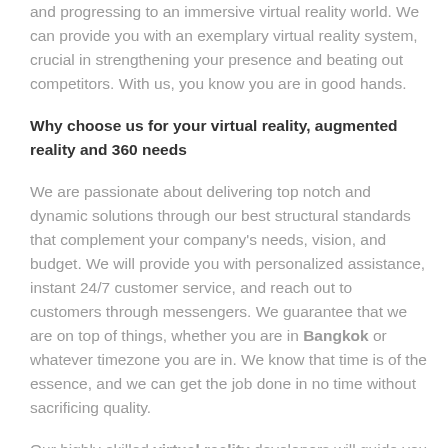and progressing to an immersive virtual reality world. We can provide you with an exemplary virtual reality system, crucial in strengthening your presence and beating out competitors. With us, you know you are in good hands.
Why choose us for your virtual reality, augmented reality and 360 needs
We are passionate about delivering top notch and dynamic solutions through our best structural standards that complement your company's needs, vision, and budget. We will provide you with personalized assistance, instant 24/7 customer service, and reach out to customers through messengers. We guarantee that we are on top of things, whether you are in Bangkok or whatever timezone you are in. We know that time is of the essence, and we can get the job done in no time without sacrificing quality.
Our highly-skilled virtual reality developers will guide you